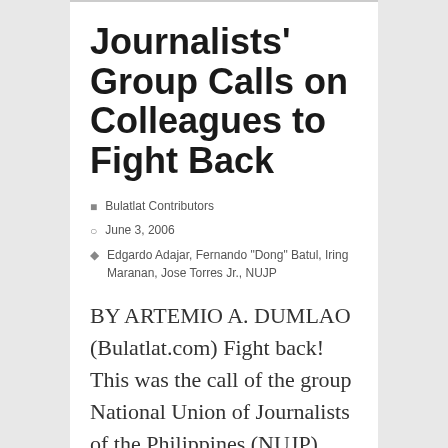Journalists' Group Calls on Colleagues to Fight Back
Bulatlat Contributors
June 3, 2006
Edgardo Adajar, Fernando "Dong" Batul, Iring Maranan, Jose Torres Jr., NUJP
BY ARTEMIO A. DUMLAO (Bulatlat.com) Fight back! This was the call of the group National Union of Journalists of the Philippines (NUJP), one